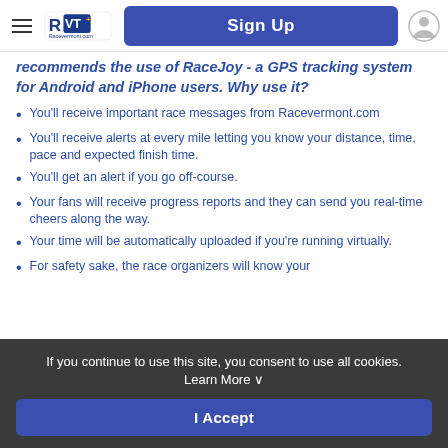Sign Up
recommends the use of RaceJoy - a GPS tracking system for Android and iPhone users. Why use it?
You'll receive important race messages from Racevermont.com
You'll receive alerts at every mile letting you know your distance, time, pace and expected finish time.
You'll get an alert if you go off-course.
Your fans will receive progress reports and they can send you real-time cheers along the way.
Your time will be automatically uploaded if you're running virtually.
For safety sake, the race organizers will know your
If you continue to use this site, you consent to use all cookies. Learn More ∨
I Accept